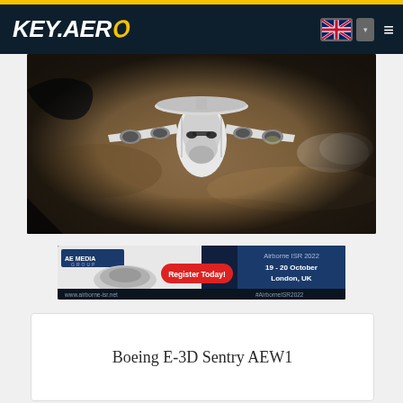KEY.AERO
[Figure (photo): Aerial view of a Boeing E-3D Sentry AEW1 aircraft photographed from above and behind during aerial refueling, showing the distinctive rotodome radar disc on top of the fuselage, four turbofan engines, and desert terrain visible below through clouds.]
[Figure (photo): Advertisement banner for AE Media Group promoting Airborne ISR 2022 conference, 19-20 October, London UK. Features a drone image, Register Today button in red, and website www.airborne-isr.net and hashtag #AirborneISR2022.]
Boeing E-3D Sentry AEW1